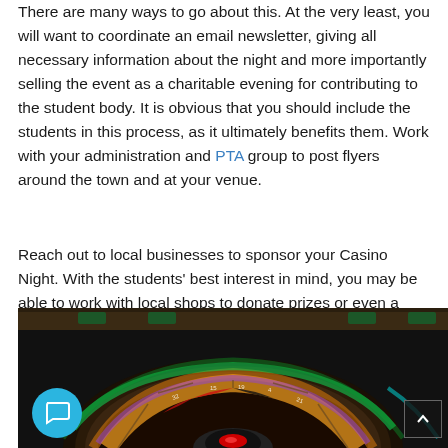There are many ways to go about this. At the very least, you will want to coordinate an email newsletter, giving all necessary information about the night and more importantly selling the event as a charitable evening for contributing to the student body. It is obvious that you should include the students in this process, as it ultimately benefits them. Work with your administration and PTA group to post flyers around the town and at your venue.
Reach out to local businesses to sponsor your Casino Night. With the students' best interest in mind, you may be able to work with local shops to donate prizes or even a monetary donation in exchange for advertising at your event.
[Figure (photo): Close-up photo of a colorful roulette wheel in motion with vibrant light streaks in green, orange, and purple colors, viewed from above at an angle showing the spinning wheel and surrounding table.]